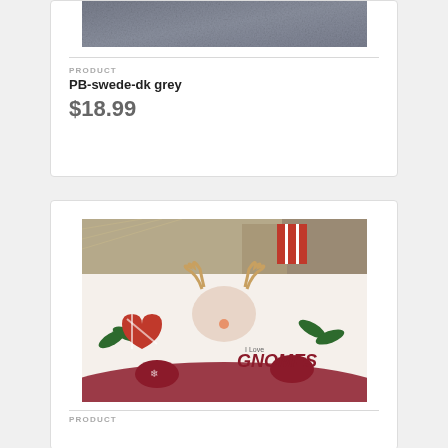[Figure (photo): Product photo showing dark grey suede fabric, top portion cropped]
PRODUCT
PB-swede-dk grey
$18.99
[Figure (photo): Product photo showing a Christmas gnome themed item with reindeer antlers, mittens, holly, and 'I Love GNOMES' text on white fabric]
PRODUCT